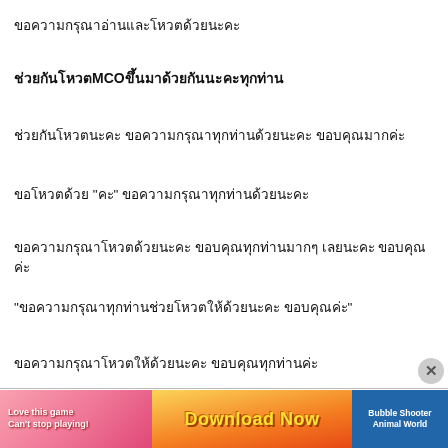ขอความกรุณาอ่านและโหวตด้วยนะคะ
ช่วยกันโหวต MCO ขึ้นมาด้วยกันนะคะทุกท่าน
ช่วยกันโหวตนะคะ ขอความกรุณาทุกท่านด้วยนะคะ ขอบคุณมากค่ะ
ขอโหวตด้วย "คะ" ขอความกรุณาทุกท่านด้วยนะคะ
ขอความกรุณาโหวตด้วยนะคะ ขอบคุณทุกท่านมากๆ เลยนะคะ ขอบคุณค่ะ
"ขอความกรุณาทุกท่านช่วยโหวตให้ด้วยนะคะ ขอบคุณค่ะ"
ขอความกรุณาโหวตให้ด้วยนะคะ ขอบคุณทุกท่านค่ะ
ขอความกรุณาโหวตด้วยนะคะ
[Figure (screenshot): Mobile game advertisement banner reading 'Love this game Can't stop playing! Download Now' with colorful bubble shooter game imagery and an 'x' close button]